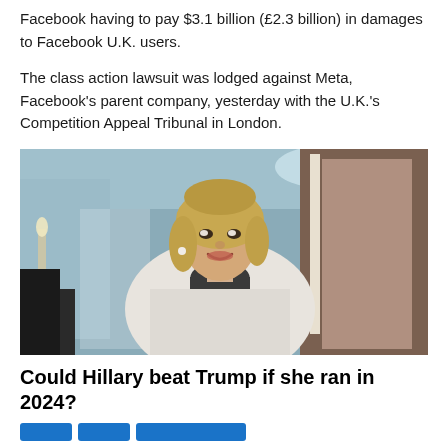Facebook having to pay $3.1 billion (£2.3 billion) in damages to Facebook U.K. users.
The class action lawsuit was lodged against Meta, Facebook's parent company, yesterday with the U.K.'s Competition Appeal Tribunal in London.
[Figure (photo): A smiling woman with blonde hair wearing a white tweed blazer and dark scarf, standing in an elegantly decorated room with blue walls and a chandelier.]
Could Hillary beat Trump if she ran in 2024?